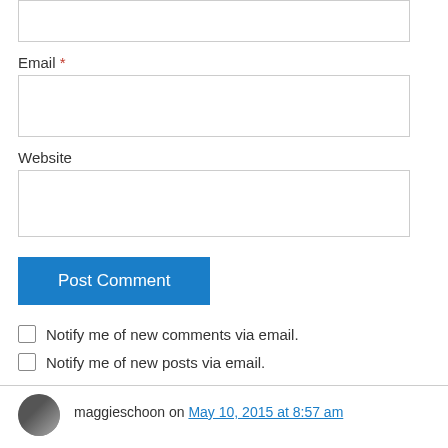[input box top partial]
Email *
[email input box]
Website
[website input box]
Post Comment
Notify me of new comments via email.
Notify me of new posts via email.
maggieschoon on May 10, 2015 at 8:57 am